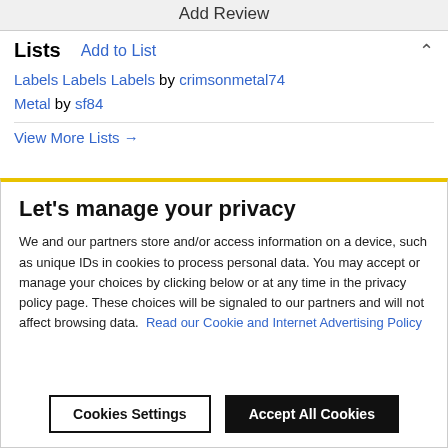Add Review
Lists  Add to List
Labels Labels Labels by crimsonmetal74
Metal by sf84
View More Lists →
Let's manage your privacy
We and our partners store and/or access information on a device, such as unique IDs in cookies to process personal data. You may accept or manage your choices by clicking below or at any time in the privacy policy page. These choices will be signaled to our partners and will not affect browsing data.  Read our Cookie and Internet Advertising Policy
Cookies Settings   Accept All Cookies